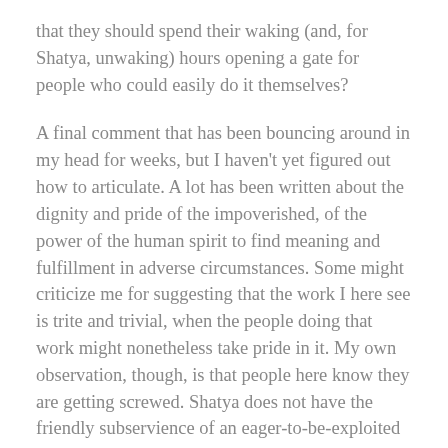that they should spend their waking (and, for Shatya, unwaking) hours opening a gate for people who could easily do it themselves?
A final comment that has been bouncing around in my head for weeks, but I haven't yet figured out how to articulate. A lot has been written about the dignity and pride of the impoverished, of the power of the human spirit to find meaning and fulfillment in adverse circumstances. Some might criticize me for suggesting that the work I here see is trite and trivial, when the people doing that work might nonetheless take pride in it. My own observation, though, is that people here know they are getting screwed. Shatya does not have the friendly subservience of an eager-to-be-exploited doorman. She quite clearly hates what she does and resents the very people who pay her.